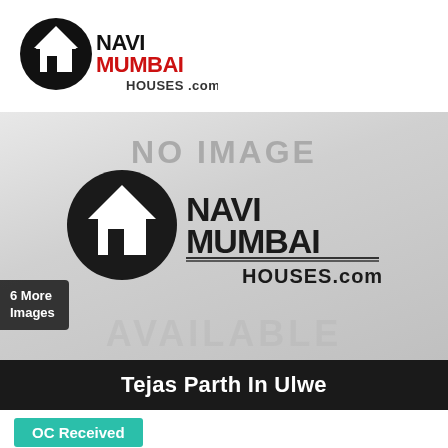[Figure (logo): NaviMumbaiHouses.com logo with house icon, NAVI in black, MUMBAI in red, HOUSES.com in dark]
[Figure (photo): No image placeholder with NaviMumbaiHouses.com watermark logo centered on grey gradient background, text 'NO IMAGE' at top, '6 More Images' badge on left]
Tejas Parth In Ulwe
OC Received
Enquire Now ▷